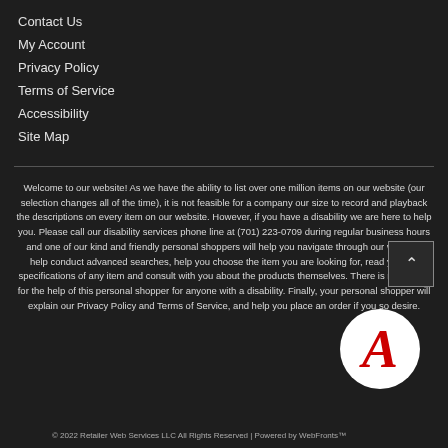Contact Us
My Account
Privacy Policy
Terms of Service
Accessibility
Site Map
Welcome to our website! As we have the ability to list over one million items on our website (our selection changes all of the time), it is not feasible for a company our size to record and playback the descriptions on every item on our website. However, if you have a disability we are here to help you. Please call our disability services phone line at (701) 223-0709 during regular business hours and one of our kind and friendly personal shoppers will help you navigate through our website, help conduct advanced searches, help you choose the item you are looking for, read you the specifications of any item and consult with you about the products themselves. There is no charge for the help of this personal shopper for anyone with a disability. Finally, your personal shopper will explain our Privacy Policy and Terms of Service, and help you place an order if you so desire.
[Figure (logo): Red italic letter A on white circular background]
© 2022 Retailer Web Services LLC All Rights Reserved | Powered by WebFronts™